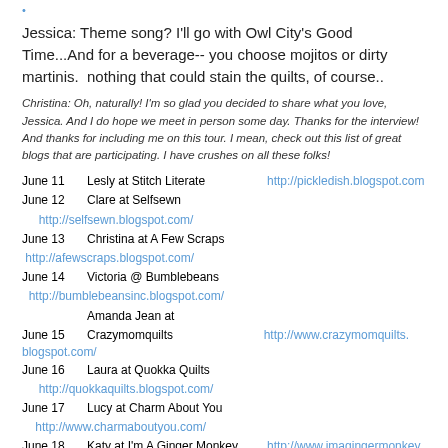Jessica: Theme song? I'll go with Owl City's Good Time...And for a beverage-- you choose mojitos or dirty martinis.  nothing that could stain the quilts, of course..
Christina: Oh, naturally! I'm so glad you decided to share what you love, Jessica. And I do hope we meet in person some day. Thanks for the interview! And thanks for including me on this tour. I mean, check out this list of great blogs that are participating. I have crushes on all these folks!
June 11   Lesly at Stitch Literate   http://pickledish.blogspot.com
June 12   Clare at Selfsewn   http://selfsewn.blogspot.com/
June 13   Christina at A Few Scraps   http://afewscraps.blogspot.com/
June 14   Victoria @ Bumblebeans   http://bumblebeansinc.blogspot.com/
June 15   Amanda Jean at Crazymomquilts   http://www.crazymomquilts.blogspot.com/
June 16   Laura at Quokka Quilts   http://quokkaquilts.blogspot.com/
June 17   Lucy at Charm About You   http://www.charmaboutyou.com/
June 18   Katy at I'm A Ginger Monkey   http://www.imagingermonkey.blogspot.com/
June 19   Ara Jane at What Ara Jane Loves   http://whatarajaneloves.blogspot.com/